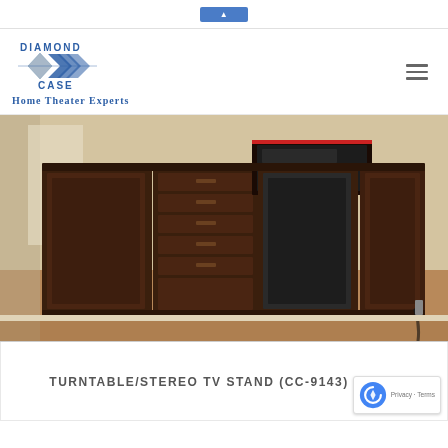Diamond Case - Home Theater Experts
[Figure (photo): Photo of a large dark wood turntable/stereo TV stand cabinet with multiple compartments, drawers, and speaker enclosures, placed in a room with carpet flooring.]
TURNTABLE/STEREO TV STAND (CC-9143)